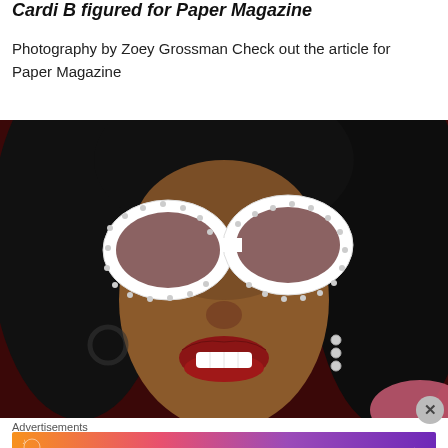Cardi B figured for Paper Magazine
Photography by Zoey Grossman Check out the article for Paper Magazine
[Figure (photo): Close-up photo of a woman wearing large white crystal-studded oversized sunglasses, with dark hair, red lips, against a dark red background]
Advertisements
[Figure (illustration): Fandom on Tumblr advertisement banner with colorful orange to purple gradient background and white/black text]